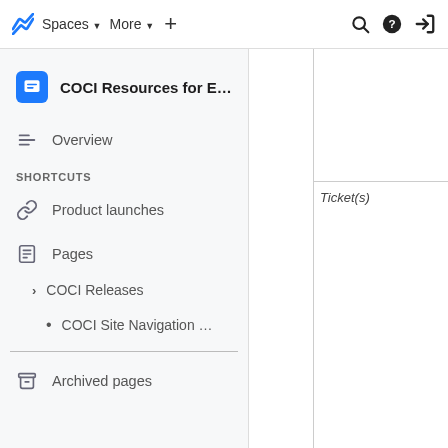Spaces ▾   More ▾   +
COCI Resources for E...
Overview
SHORTCUTS
Product launches
Pages
COCI Releases
COCI Site Navigation …
Archived pages
Ticket(s)